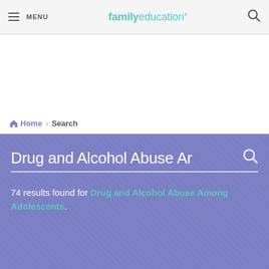MENU  familyeducation
Home › Search
Drug and Alcohol Abuse Ar
74 results found for Drug and Alcohol Abuse Among Adolescents.